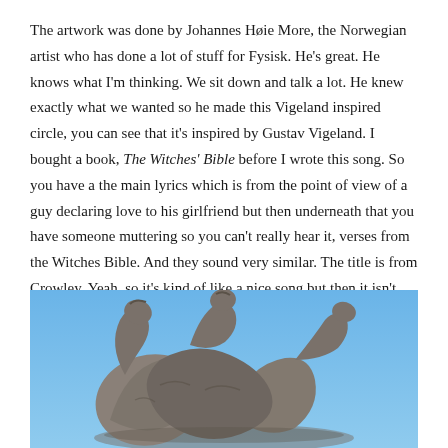The artwork was done by Johannes Høie More, the Norwegian artist who has done a lot of stuff for Fysisk. He's great. He knows what I'm thinking. We sit down and talk a lot. He knew exactly what we wanted so he made this Vigeland inspired circle, you can see that it's inspired by Gustav Vigeland. I bought a book, The Witches' Bible before I wrote this song. So you have a the main lyrics which is from the point of view of a guy declaring love to his girlfriend but then underneath that you have someone muttering so you can't really hear it, verses from the Witches Bible. And they sound very similar. The title is from Crowley. Yeah, so it's kind of like a nice song but then it isn't really at all!
[Figure (photo): A stone sculpture showing intertwined human figures against a blue sky, in the style of Gustav Vigeland.]